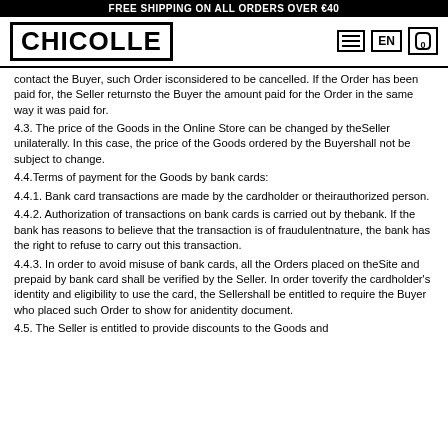FREE SHIPPING ON ALL ORDERS OVER €40
[Figure (logo): CHICOLLE logo with hamburger menu, EN language button, and cart icon]
contact the Buyer, such Order isconsidered to be cancelled. If the Order has been paid for, the Seller returnsto the Buyer the amount paid for the Order in the same way it was paid for.
4.3. The price of the Goods in the Online Store can be changed by theSeller unilaterally. In this case, the price of the Goods ordered by the Buyershall not be subject to change.
4.4.Terms of payment for the Goods by bank cards:
4.4.1. Bank card transactions are made by the cardholder or theirauthorized person.
4.4.2. Authorization of transactions on bank cards is carried out by thebank. If the bank has reasons to believe that the transaction is of fraudulentnature, the bank has the right to refuse to carry out this transaction.
4.4.3. In order to avoid misuse of bank cards, all the Orders placed on theSite and prepaid by bank card shall be verified by the Seller. In order toverify the cardholder's identity and eligibility to use the card, the Sellershall be entitled to require the Buyer who placed such Order to show for anidentity document.
4.5. The Seller is entitled to provide discounts to the Goods and...